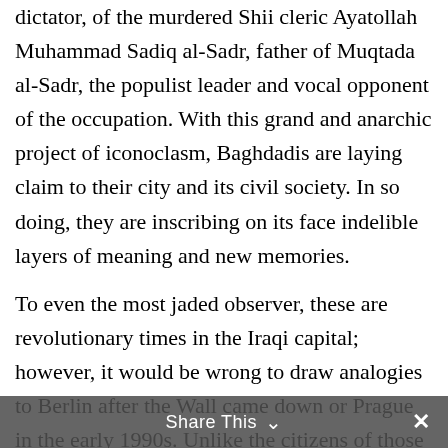dictator, of the murdered Shii cleric Ayatollah Muhammad Sadiq al-Sadr, father of Muqtada al-Sadr, the populist leader and vocal opponent of the occupation. With this grand and anarchic project of iconoclasm, Baghdadis are laying claim to their city and its civil society. In so doing, they are inscribing on its face indelible layers of meaning and new memories.
To even the most jaded observer, these are revolutionary times in the Iraqi capital; however, it would be wrong to draw analogies to Berlin after the Wall came down or Prague in the early 1990s. Unlike the citizens of those cities, Baghdadis live under foreign occupation and lack the rudimentary structures of public safety and urban life itself. While Iraq is freer
Share This ∨  ✕